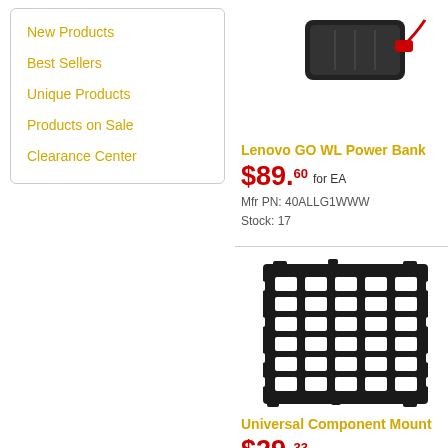New Products
Best Sellers
Unique Products
Products on Sale
Clearance Center
Lenovo GO WL Power Bank
$89.60 for EA
Mfr PN: 40ALLG1WWW
Stock: 17
TS Z1... 11D
$19...
[Figure (photo): Lenovo GO WL Power Bank product photo]
Universal Component Mount
$29.33 for EA
Mfr PN: ACC-UCM
Stock: 8
[Figure (photo): Universal Component Mount — black metal grid/rack mount panel]
Ravin...
$57...